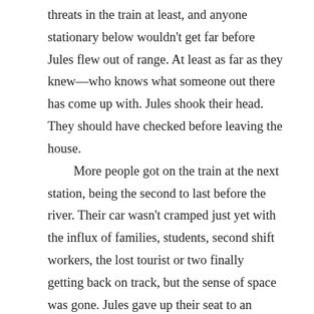threats in the train at least, and anyone stationary below wouldn't get far before Jules flew out of range. At least as far as they knew—who knows what someone out there has come up with. Jules shook their head. They should have checked before leaving the house.
	More people got on the train at the next station, being the second to last before the river. Their car wasn't cramped just yet with the influx of families, students, second shift workers, the lost tourist or two finally getting back on track, but the sense of space was gone. Jules gave up their seat to an elderly man who nodded appreciatively to them as he sat down with a tired grunt. At the next and final stop before the river more people got on, filling the car. Jules was herded out of reach of any of the poles, so they grabbed the lapel of their coat with one hand and pressed the other into the ceiling to steady